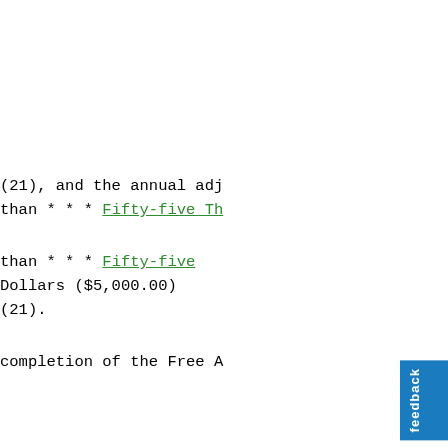of the program eligibili... specified core curriculu... failure to comply with t... required course or cours... school attended.
(7)   An applicant s
(a)   The famil... (21), and the annual adj... than * * * Fifty-five Th...
(b)   The famil... than * * * Fifty-five... Dollars ($5,000.00)... (21).
The annual adjuste... completion of the Free A...